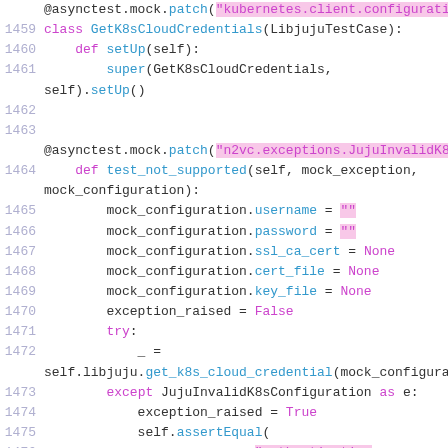[Figure (screenshot): Python source code snippet showing lines 1458-1477 with syntax highlighting. Code includes @asynctest.mock.patch decorators, class GetK8sCloudCredentials, and test_not_supported method with mock configuration assignments and try/except block.]